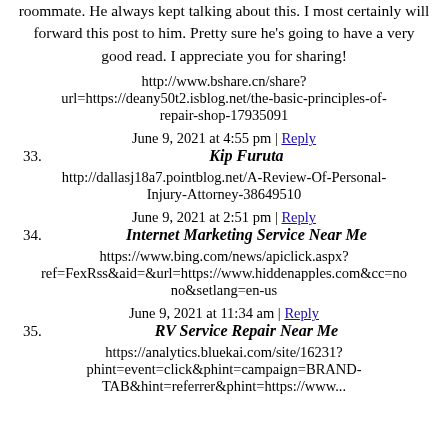roommate. He always kept talking about this. I most certainly will forward this post to him. Pretty sure he's going to have a very good read. I appreciate you for sharing!
http://www.bshare.cn/share?url=https://deany50t2.isblog.net/the-basic-principles-of-repair-shop-17935091
June 9, 2021 at 4:55 pm | Reply
33. Kip Furuta
http://dallasj18a7.pointblog.net/A-Review-Of-Personal-Injury-Attorney-38649510
June 9, 2021 at 2:51 pm | Reply
34. Internet Marketing Service Near Me
https://www.bing.com/news/apiclick.aspx?ref=FexRss&aid=&url=https://www.hiddenapples.com&cc=no&setlang=en-us
June 9, 2021 at 11:34 am | Reply
35. RV Service Repair Near Me
https://analytics.bluekai.com/site/16231?phint=event=click&phint=campaign=BRAND-TAB&hint=referrer&phint=https://www...